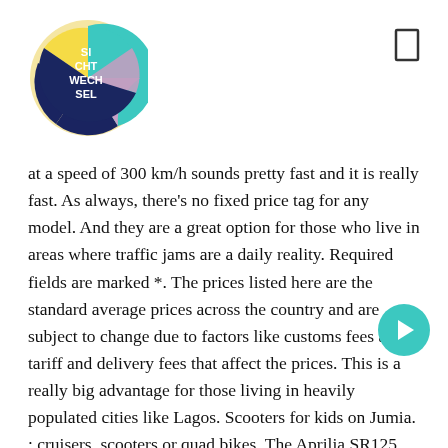[Figure (logo): Circular logo with text 'SI CHT WECH SEL' in white on dark navy background, with colorful sections (yellow, teal, pink/lavender) forming a pie-chart style circle.]
at a speed of 300 km/h sounds pretty fast and it is really fast. As always, there's no fixed price tag for any model. And they are a great option for those who live in areas where traffic jams are a daily reality. Required fields are marked *. The prices listed here are the standard average prices across the country and are subject to change due to factors like customs fees and tariff and delivery fees that affect the prices. This is a really big advantage for those living in heavily populated cities like Lagos. Scooters for kids on Jumia. : cruisers, scooters or quad bikes. The Aprilia SR125 was introduced in India for one main reason –